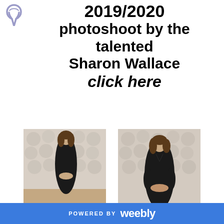[Figure (illustration): Purple awareness ribbon icon in top-left corner]
2019/2020 photoshoot by the talented Sharon Wallace click here
[Figure (photo): Woman in black dress standing in front of a white floral rose wall backdrop, full-length shot]
[Figure (photo): Woman in black dress standing in front of a white floral rose wall backdrop, closer shot]
POWERED BY weebly